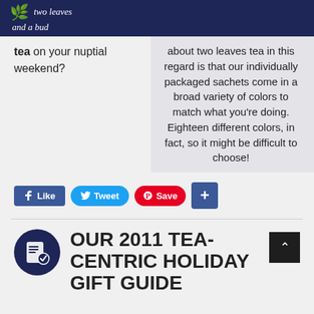two leaves and a bud
tea on your nuptial weekend?
about two leaves tea in this regard is that our individually packaged sachets come in a broad variety of colors to match what you’re doing. Eighteen different colors, in fact, so it might be difficult to choose!
[Figure (screenshot): Social media sharing buttons: Like, Tweet, Save (Pinterest), and a blue plus button]
OUR 2011 TEA-CENTRIC HOLIDAY GIFT GUIDE